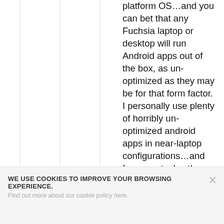platform OS…and you can bet that any Fuchsia laptop or desktop will run Android apps out of the box, as un-optimized as they may be for that form factor. I personally use plenty of horribly un-optimized android apps in near-laptop configurations…and for many tasks, they still get the job done in less time than it would take to fire up my Windows machine
WE USE COOKIES TO IMPROVE YOUR BROWSING EXPERIENCE. Find out more about our cookie policy here.